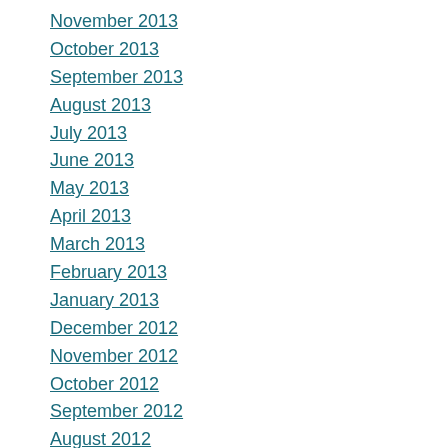November 2013
October 2013
September 2013
August 2013
July 2013
June 2013
May 2013
April 2013
March 2013
February 2013
January 2013
December 2012
November 2012
October 2012
September 2012
August 2012
July 2012
June 2012
May 2012